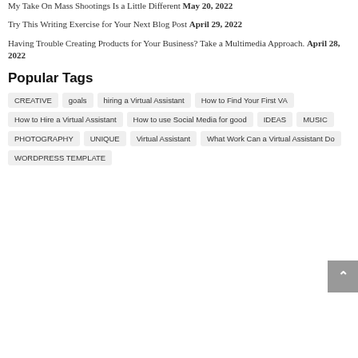My Take On Mass Shootings Is a Little Different May 20, 2022
Try This Writing Exercise for Your Next Blog Post April 29, 2022
Having Trouble Creating Products for Your Business? Take a Multimedia Approach. April 28, 2022
Popular Tags
CREATIVE
goals
hiring a Virtual Assistant
How to Find Your First VA
How to Hire a Virtual Assistant
How to use Social Media for good
IDEAS
MUSIC
PHOTOGRAPHY
UNIQUE
Virtual Assistant
What Work Can a Virtual Assistant Do
WORDPRESS TEMPLATE